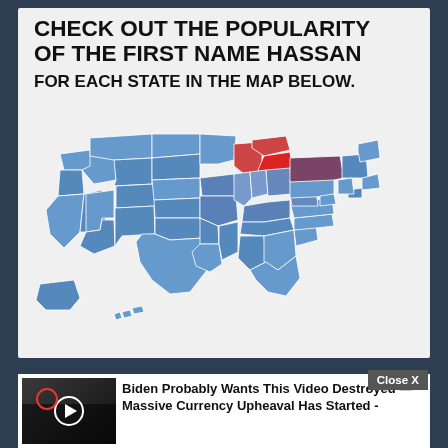CHECK OUT THE POPULARITY OF THE FIRST NAME HASSAN FOR EACH STATE IN THE MAP BELOW.
[Figure (map): Choropleth map of the United States showing popularity of the first name Hassan by state. Most states are shown in light or medium blue. Michigan is highlighted in red (highest popularity). New York is shown in dark purple/maroon (second highest). Other states are in various shades of blue indicating lower popularity.]
Biden Probably Wants This Video Destroyed — Massive Currency Upheaval Has Started -